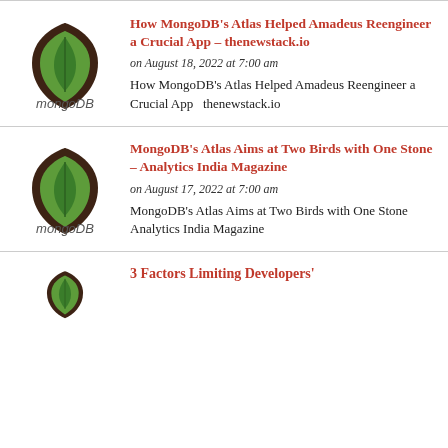[Figure (logo): MongoDB leaf logo with 'mongoDB' text below]
How MongoDB's Atlas Helped Amadeus Reengineer a Crucial App – thenewstack.io
on August 18, 2022 at 7:00 am
How MongoDB's Atlas Helped Amadeus Reengineer a Crucial App  thenewstack.io
[Figure (logo): MongoDB leaf logo with 'mongoDB' text below]
MongoDB's Atlas Aims at Two Birds with One Stone – Analytics India Magazine
on August 17, 2022 at 7:00 am
MongoDB's Atlas Aims at Two Birds with One Stone  Analytics India Magazine
[Figure (logo): MongoDB leaf logo (partially visible)]
3 Factors Limiting Developers'